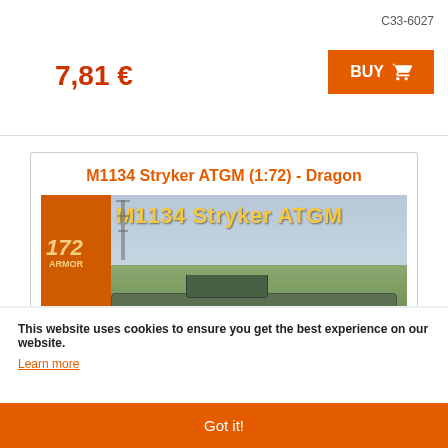C33-6027
7,81 €
BUY
M1134 Stryker ATGM (1:72) - Dragon
[Figure (photo): Dragon model kit box art showing M1134 Stryker ATGM armored vehicle in 1:72 scale. The box shows a real military vehicle photo with orange branding, Dragon logo, and scale markings.]
This website uses cookies to ensure you get the best experience on our website.
Learn more
Got it!